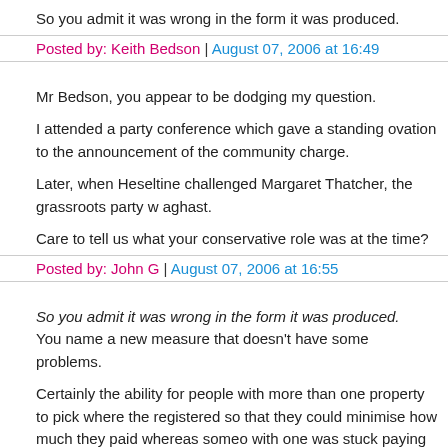So you admit it was wrong in the form it was produced.
Posted by: Keith Bedson | August 07, 2006 at 16:49
Mr Bedson, you appear to be dodging my question.
I attended a party conference which gave a standing ovation to the announcement of the community charge.
Later, when Heseltine challenged Margaret Thatcher, the grassroots party w… aghast.
Care to tell us what your conservative role was at the time?
Posted by: John G | August 07, 2006 at 16:55
So you admit it was wrong in the form it was produced. You name a new measure that doesn't have some problems.
Certainly the ability for people with more than one property to pick where the… registered so that they could minimise how much they paid whereas someo… with one was stuck paying where they were, the transitional relief scheme w… rather absurd and seemed to favour a few London councils over everywher… Macclesfield in fact ended up with the highest Community Charge level in th…